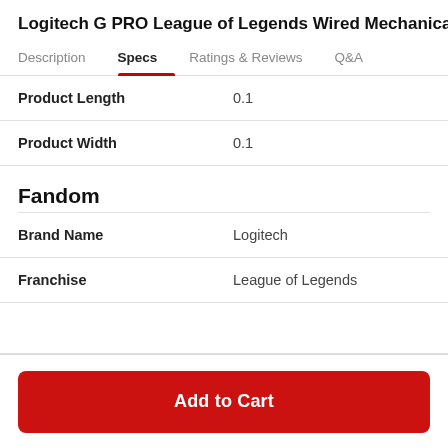Logitech G PRO League of Legends Wired Mechanica
Description  Specs  Ratings & Reviews  Q&A
| Product Length | 0.1 |
| Product Width | 0.1 |
Fandom
| Brand Name | Logitech |
| Franchise | League of Legends |
Add to Cart